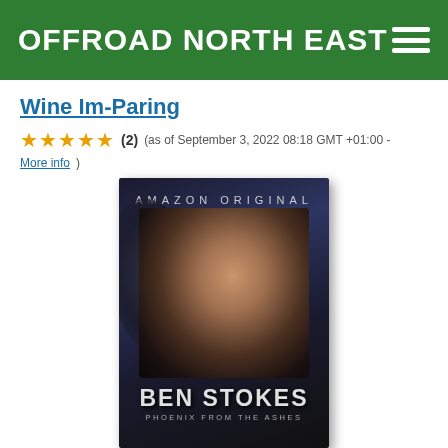OFFROAD NORTH EAST
Wine Im-Paring
★★★★★ (2)  (as of September 3, 2022 08:18 GMT +01:00 - More info)
[Figure (photo): Book/documentary cover for Ben Stokes: Phoenix from the Ashes. Amazon Original. Dark dramatic poster showing a bearded man with slicked-back hair against a dark background with feathered wings.]